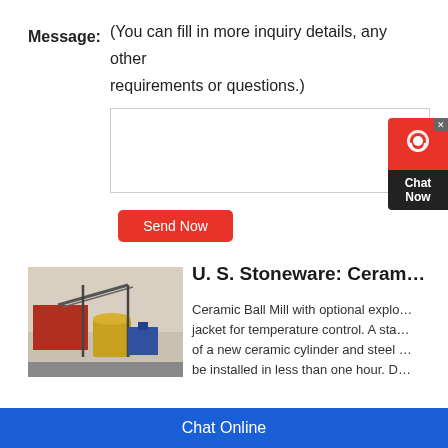Message:
(You can fill in more inquiry details, any other requirements or questions.)
Send Now
[Figure (screenshot): Chat Now widget with headset icon, red background, dark Chat Now label]
[Figure (photo): Industrial machinery/equipment photo, outdoor setting with containers and conveyor belts]
U. S. Stoneware: Ceram…
Ceramic Ball Mill with optional explo… jacket for temperature control. A sta… of a new ceramic cylinder and steel … be installed in less than one hour. D…
Chat Online